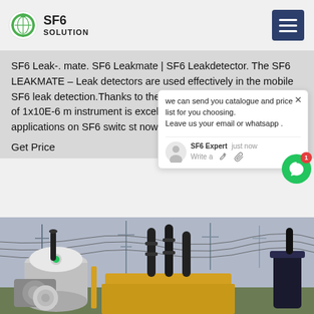SF6 Solution
SF6 Leak-. mate. SF6 Leakmate | SF6 Leakdetector. The SF6 LEAKMATE – Leak detectors are used effectively in the mobile SF6 leak detection.Thanks to the detection achievable in practice of 1x10E-6 m instrument is excellently suited for s detection applications on SF6 switc st now PDF Broschure.
Get Price
[Figure (screenshot): Chat popup showing message: we can send you catalogue and price list for you choosing. Leave us your email or whatsapp. SF6 Expert just now. Write a message area with like and attachment icons.]
[Figure (photo): Photo of electrical substation equipment including transformers and high-voltage switchgear on a yellow vehicle, with power lines and towers in the background.]